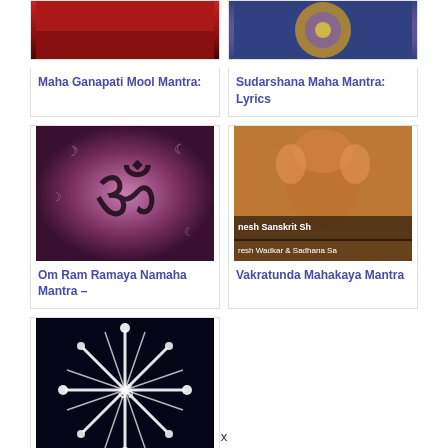[Figure (photo): Red gradient image - Maha Ganapati thumbnail]
Maha Ganapati Mool Mantra:
[Figure (photo): Mandala/colorful circular image - Sudarshana Maha thumbnail]
Sudarshana Maha Mantra: Lyrics
[Figure (photo): Om symbol on purple background]
Om Ram Ramaya Namaha Mantra –
[Figure (photo): Ganesha statue - Vakratunda Mahakaya thumbnail with text overlay 'nesh Sanskrit Sh... resh Wadkar & Sadhana Sa...']
Vakratunda Mahakaya Mantra
[Figure (photo): Star/Om symbol on dark background]
What is The...
x